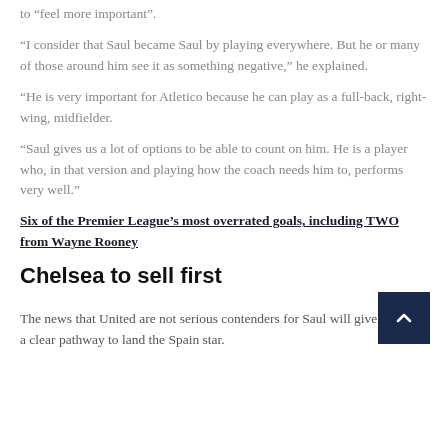to “feel more important”.
“I consider that Saul became Saul by playing everywhere. But he or many of those around him see it as something negative,” he explained.
“He is very important for Atletico because he can play as a full-back, right-wing, midfielder.
“Saul gives us a lot of options to be able to count on him. He is a player who, in that version and playing how the coach needs him to, performs very well.”
Six of the Premier League’s most overrated goals, including TWO from Wayne Rooney
Chelsea to sell first
The news that United are not serious contenders for Saul will give Chelsea a clear pathway to land the Spain star.